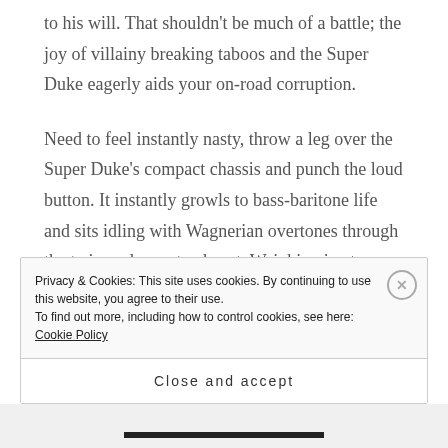street fighting thug, the Super Duke is out to turn you to his will. That shouldn't be much of a battle; the joy of villainy breaking taboos and the Super Duke eagerly aids your on-road corruption.
Need to feel instantly nasty, throw a leg over the Super Duke's compact chassis and punch the loud button. It instantly growls to bass-baritone life and sits idling with Wagnerian overtones through the twin under-seat exhaust. Weighing in at 126lbs the light and compact 999.9cc 75-degree V-twin pumps out a claimed 118hp/88kW@9000 rpm and 74lb-
Privacy & Cookies: This site uses cookies. By continuing to use this website, you agree to their use.
To find out more, including how to control cookies, see here: Cookie Policy
Close and accept